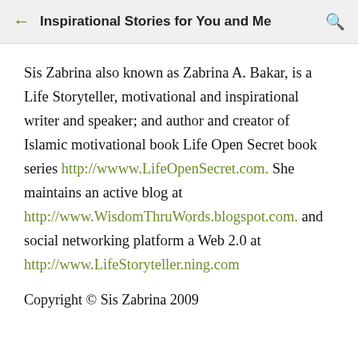Inspirational Stories for You and Me
Sis Zabrina also known as Zabrina A. Bakar, is a Life Storyteller, motivational and inspirational writer and speaker; and author and creator of Islamic motivational book Life Open Secret book series http://wwww.LifeOpenSecret.com. She maintains an active blog at http://www.WisdomThruWords.blogspot.com. and social networking platform a Web 2.0 at http://www.LifeStoryteller.ning.com
Copyright © Sis Zabrina 2009